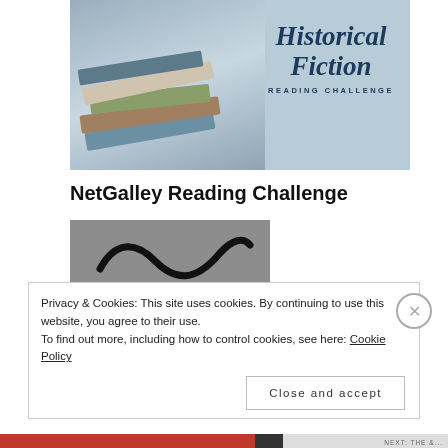[Figure (photo): Historical Fiction Reading Challenge banner image with stacked books on the left and bold italic text reading 'Historical Fiction READING CHALLENGE' on the right over a blue-grey background]
NetGalley Reading Challenge
[Figure (logo): NetGalley & Edelweiss Reading Challenge logo: grey background with a wavy tilde symbol above bold text reading 'NetGalley & Edelweiss Reading Challenge']
Privacy & Cookies: This site uses cookies. By continuing to use this website, you agree to their use.
To find out more, including how to control cookies, see here: Cookie Policy
Close and accept